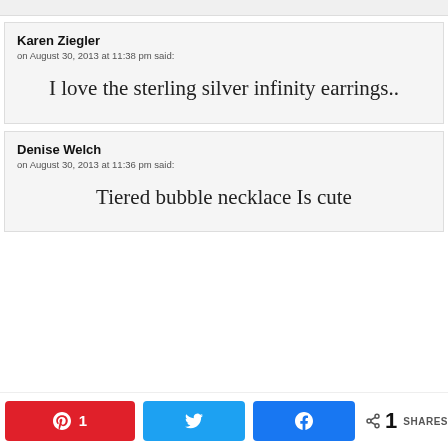Karen Ziegler on August 30, 2013 at 11:38 pm said: I love the sterling silver infinity earrings..
Denise Welch on August 30, 2013 at 11:36 pm said: Tiered bubble necklace Is cute
1 SHARES